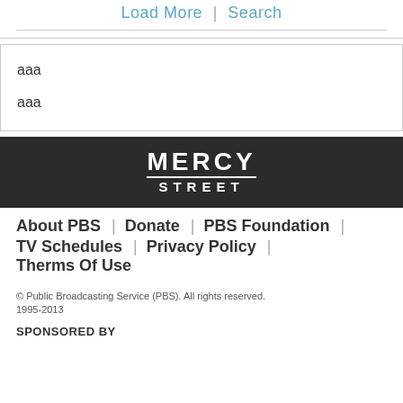Load More | Search
aaa
aaa
[Figure (logo): Mercy Street logo in white text on dark background]
About PBS | Donate | PBS Foundation | TV Schedules | Privacy Policy | Therms Of Use
© Public Broadcasting Service (PBS). All rights reserved. 1995-2013
SPONSORED BY